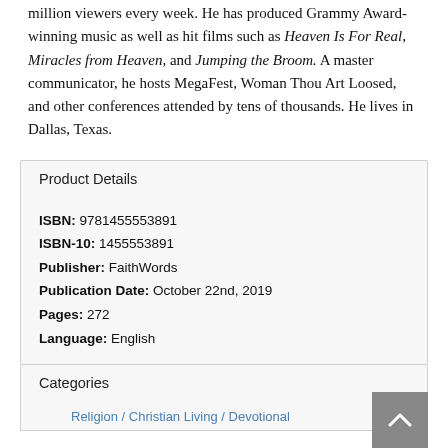million viewers every week. He has produced Grammy Award-winning music as well as hit films such as Heaven Is For Real, Miracles from Heaven, and Jumping the Broom. A master communicator, he hosts MegaFest, Woman Thou Art Loosed, and other conferences attended by tens of thousands. He lives in Dallas, Texas.
Product Details
| ISBN: | 9781455553891 |
| ISBN-10: | 1455553891 |
| Publisher: | FaithWords |
| Publication Date: | October 22nd, 2019 |
| Pages: | 272 |
| Language: | English |
Categories
Religion / Christian Living / Devotional